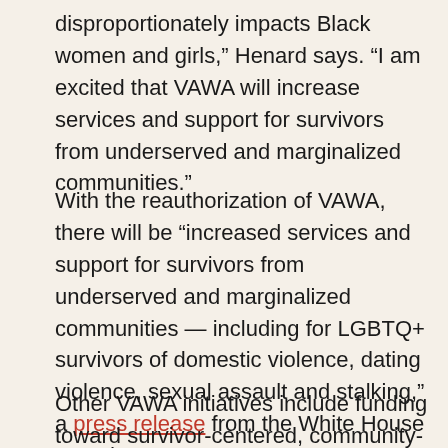disproportionately impacts Black women and girls,” Henard says. “I am excited that VAWA will increase services and support for survivors from underserved and marginalized communities.”
With the reauthorization of VAWA, there will be “increased services and support for survivors from underserved and marginalized communities — including for LGBTQ+ survivors of domestic violence, dating violence, sexual assault and stalking,” a press release from the White House stated.
Other VAWA initiatives include funding toward survivor-centered, community-based restorative justice services and increased support for...